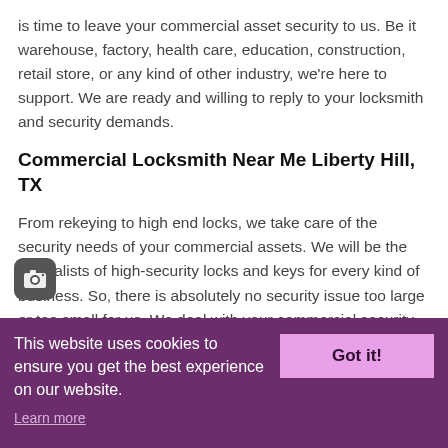is time to leave your commercial asset security to us. Be it warehouse, factory, health care, education, construction, retail store, or any kind of other industry, we're here to support. We are ready and willing to reply to your locksmith and security demands.
Commercial Locksmith Near Me Liberty Hill, TX
From rekeying to high end locks, we take care of the security needs of your commercial assets. We will be the specialists of high-security locks and keys for every kind of business. So, there is absolutely no security issue too large or too small for us. We deal with your commercial security concerns with a high level of professionalism and reliability. So, you can depend on us for anything starting from a typical door lock to
This website uses cookies to ensure you get the best experience on our website.
Learn more